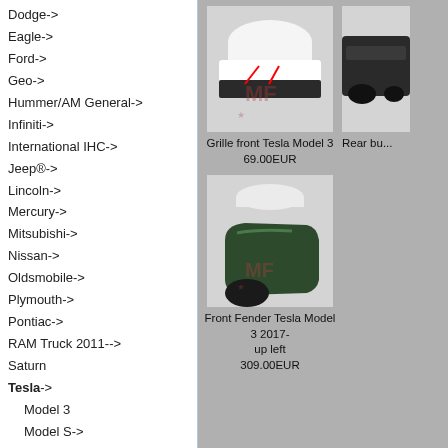Dodge->
Eagle->
Ford->
Geo->
Hummer/AM General->
Infiniti->
International IHC->
Jeep®->
Lincoln->
Mercury->
Mitsubishi->
Nissan->
Oldsmobile->
Plymouth->
Pontiac->
RAM Truck 2011-->
Saturn
Tesla->
Model 3
Model S->
Toyota->
Volkswagen->
Accessories for Jeep->
Accessories->
Body parts->
Bolts, Nuts & Washers->
Brakes->
[Figure (photo): Grille front Tesla Model 3 product photo showing car and grille part]
Grille front Tesla Model 3
69.00EUR
[Figure (photo): Rear bumper Tesla Model 3 partial product photo (cropped)]
Rear bu...
[Figure (photo): Front Fender Tesla Model 3 2017-up left product photo]
Front Fender Tesla Model 3 2017-up left
309.00EUR